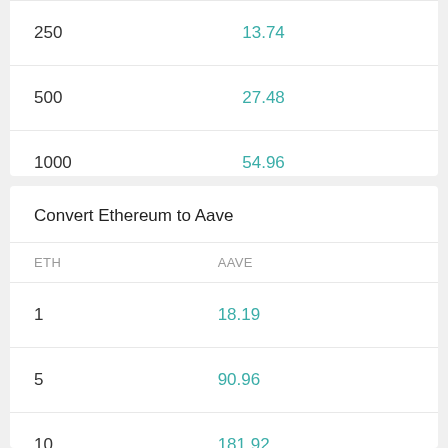|  |  |
| --- | --- |
| 250 | 13.74 |
| 500 | 27.48 |
| 1000 | 54.96 |
Convert Ethereum to Aave
| ETH | AAVE |
| --- | --- |
| 1 | 18.19 |
| 5 | 90.96 |
| 10 | 181.92 |